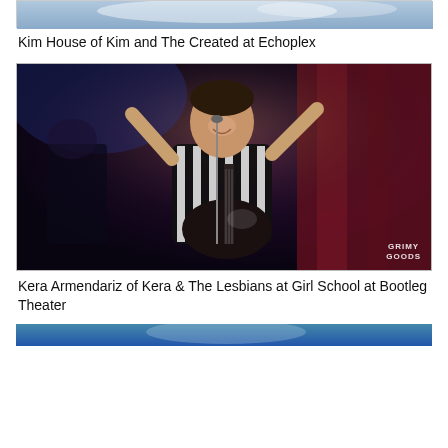[Figure (photo): Partial cropped photo at top of page, showing sky/performer image cut off at top]
Kim House of Kim and The Created at Echoplex
[Figure (photo): Concert photo of Kera Armendariz performing on stage. Person in black and white striped shirt playing guitar and singing into microphone with one hand raised. Dark background with red curtain. Grimy Goods watermark in bottom right.]
Kera Armendariz of Kera & The Lesbians at Girl School at Bootleg Theater
[Figure (photo): Partial photo at bottom of page, cropped, showing blue tones]